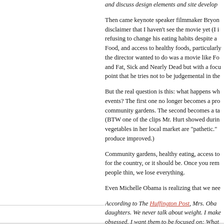and discuss design elements and site develop...
Then came keynote speaker filmmaker Bryon... disclaimer that I haven't see the movie yet (I i... refusing to change his eating habits despite a ... Food, and access to healthy foods, particularly... the director wanted to do was a movie like Fo... and Fat, Sick and Nearly Dead but with a focu... point that he tries not to be judgemental in the...
But the real question is this: what happens wh... events? The first one no longer becomes a pro... community gardens. The second becomes a ta... (BTW one of the clips Mr. Hurt showed durin... vegetables in her local market are "pathetic."... produce improved.)
Community gardens, healthy eating, access to... for the country, or it should be. Once you rem... people thin, we lose everything.
Even Michelle Obama is realizing that we nee...
According to The Huffington Post, Mrs. Oba... daughters. We never talk about weight. I mak... obsessed. I want them to be focused on: What... different, every person's body is different-- wh...